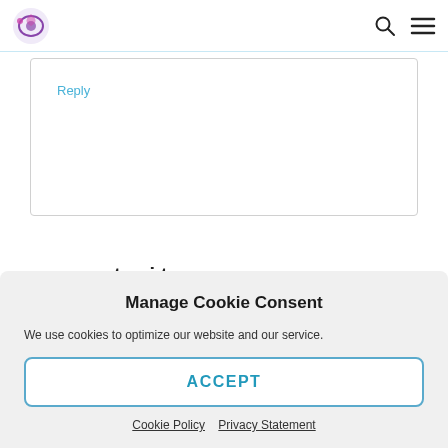Navigation bar with logo, search icon, and menu icon
Reply
tami tanguma
March 13, 2015 at 9:32 am
Manage Cookie Consent
We use cookies to optimize our website and our service.
ACCEPT
Cookie Policy  Privacy Statement